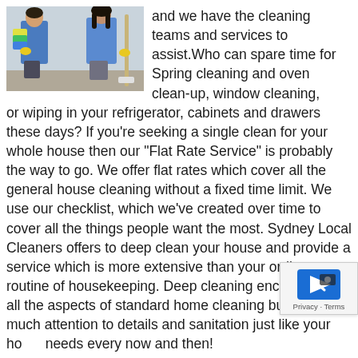[Figure (photo): Two people in blue uniforms holding colorful cleaning cloths and a mop, viewed from behind.]
and we have the cleaning teams and services to assist.Who can spare time for Spring cleaning and oven clean-up, window cleaning, or wiping in your refrigerator, cabinets and drawers these days? If you're seeking a single clean for your whole house then our "Flat Rate Service" is probably the way to go. We offer flat rates which cover all the general house cleaning without a fixed time limit. We use our checklist, which we've created over time to cover all the things people want the most. Sydney Local Cleaners offers to deep clean your house and provide a service which is more extensive than your ordinary routine of housekeeping. Deep cleaning encompasses all the aspects of standard home cleaning but with much attention to details and sanitation just like your home needs every now and then!
How much does a deep cleaner